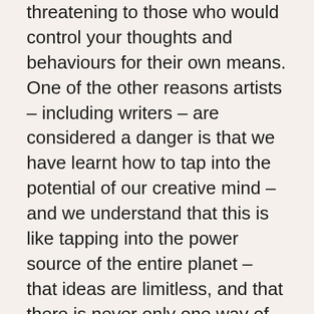threatening to those who would control your thoughts and behaviours for their own means. One of the other reasons artists – including writers – are considered a danger is that we have learnt how to tap into the potential of our creative mind – and we understand that this is like tapping into the power source of the entire planet – that ideas are limitless, and that there is never only one way of thinking or only one answer. This makes us less likely to accept without questioning, and more likely to be interested in nuance, honesty, analysis and close observation – which usually leads to a pretty clear-sighted view of the real dynamics of any given situation – from party etiquette through to